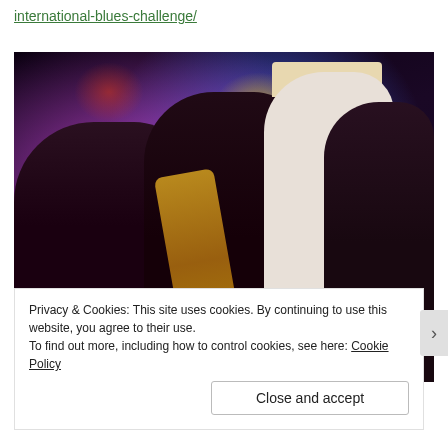international-blues-challenge/
[Figure (photo): Live blues band performance on stage with colorful stage lighting. Multiple musicians visible including saxophonist on left, singer in center wearing white shirt and tie, and guitarist on right wearing white hat.]
Privacy & Cookies: This site uses cookies. By continuing to use this website, you agree to their use.
To find out more, including how to control cookies, see here: Cookie Policy
Close and accept